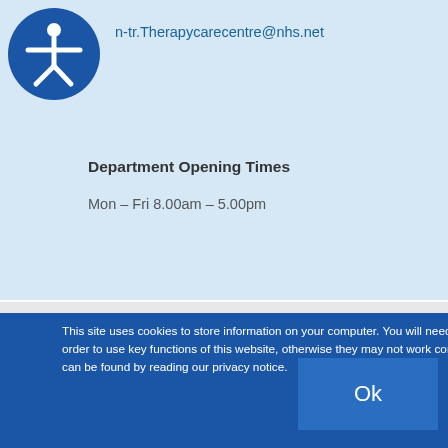n-tr.Therapycarecentre@nhs.net
Department Opening Times
Mon – Fri 8.00am – 5.00pm
Physiotherapy
This site uses cookies to store information on your computer. You will need to consent to cookies in order to use key functions of this website, otherwise they may not work correctly. More information can be found by reading our privacy notice.